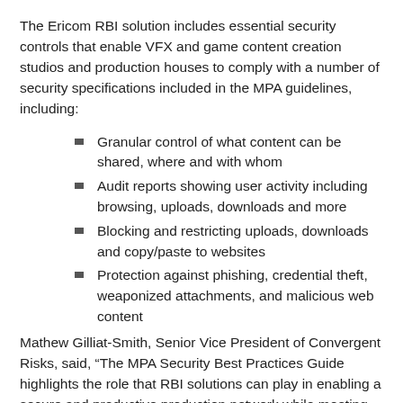The Ericom RBI solution includes essential security controls that enable VFX and game content creation studios and production houses to comply with a number of security specifications included in the MPA guidelines, including:
Granular control of what content can be shared, where and with whom
Audit reports showing user activity including browsing, uploads, downloads and more
Blocking and restricting uploads, downloads and copy/paste to websites
Protection against phishing, credential theft, weaponized attachments, and malicious web content
Mathew Gilliat-Smith, Senior Vice President of Convergent Risks, said, “The MPA Security Best Practices Guide highlights the role that RBI solutions can play in enabling a secure and productive production network while meeting expectations. from major film